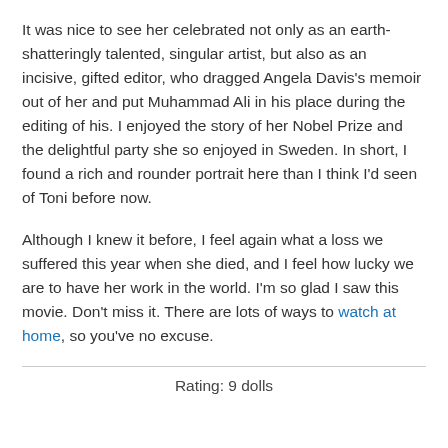It was nice to see her celebrated not only as an earth-shatteringly talented, singular artist, but also as an incisive, gifted editor, who dragged Angela Davis's memoir out of her and put Muhammad Ali in his place during the editing of his. I enjoyed the story of her Nobel Prize and the delightful party she so enjoyed in Sweden. In short, I found a rich and rounder portrait here than I think I'd seen of Toni before now.
Although I knew it before, I feel again what a loss we suffered this year when she died, and I feel how lucky we are to have her work in the world. I'm so glad I saw this movie. Don't miss it. There are lots of ways to watch at home, so you've no excuse.
Rating: 9 dolls